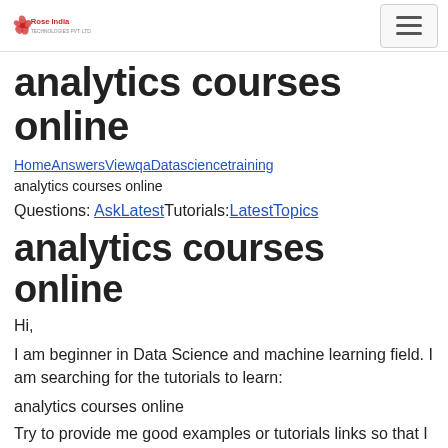Rose India Technologies Pvt. Ltd. logo and navigation menu
analytics courses online
HomeAnswersViewqaDatasciencetraining analytics courses online
Questions: AskLatestTutorials:LatestTopics
analytics courses online
Hi,
I am beginner in Data Science and machine learning field. I am searching for the tutorials to learn:
analytics courses online
Try to provide me good examples or tutorials links so that I can learn the topic "analytics courses online". Also tell me which is the good training